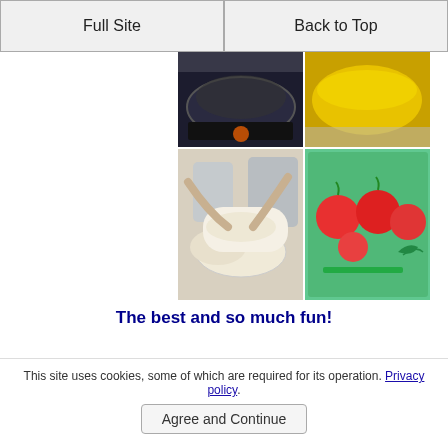Full Site | Back to Top
[Figure (photo): Four cooking-related photos arranged in a 2x2 grid: top-left shows a pan on a flame/stove, top-right shows a yellow sauce or liquid in a bowl, bottom-left shows people kneading dough with bowls, bottom-right shows red tomatoes on a green cutting board]
The best and so much fun!
This site uses cookies, some of which are required for its operation. Privacy policy.
Agree and Continue